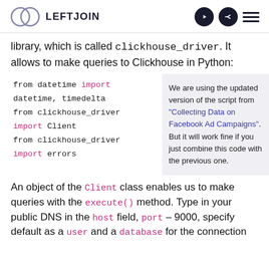LEFTJOIN
library, which is called clickhouse_driver. It allows to make queries to Clickhouse in Python:
[Figure (screenshot): Code block showing Python imports: from datetime import datetime, timedelta; from clickhouse_driver import Client; from clickhouse_driver import errors]
We are using the updated version of the script from “Collecting Data on Facebook Ad Campaigns”. But it will work fine if you just combine this code with the previous one.
An object of the Client class enables us to make queries with the execute() method. Type in your public DNS in the host field, port – 9000, specify default as a user and a database for the connection